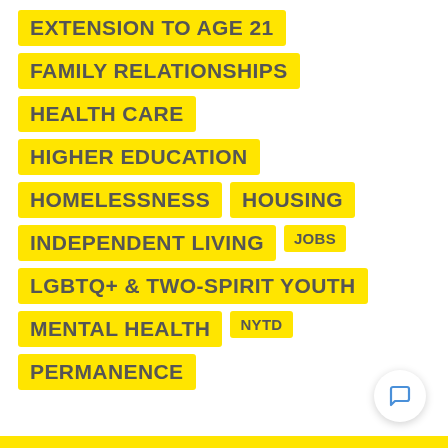EXTENSION TO AGE 21
FAMILY RELATIONSHIPS
HEALTH CARE
HIGHER EDUCATION
HOMELESSNESS
HOUSING
INDEPENDENT LIVING
JOBS
LGBTQ+ & TWO-SPIRIT YOUTH
MENTAL HEALTH
NYTD
PERMANENCE